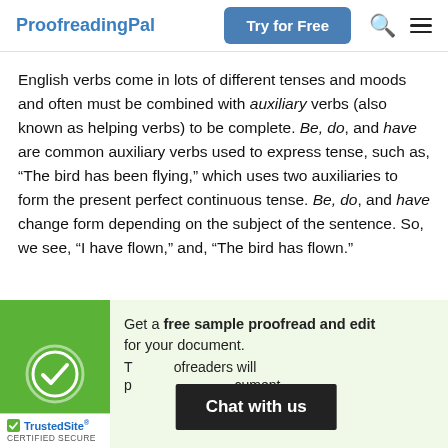ProofreadingPal  Try for Free
English verbs come in lots of different tenses and moods and often must be combined with auxiliary verbs (also known as helping verbs) to be complete. Be, do, and have are common auxiliary verbs used to express tense, such as, “The bird has been flying,” which uses two auxiliaries to form the present perfect continuous tense. Be, do, and have change form depending on the subject of the sentence. So, we see, “I have flown,” and, “The bird has flown.”
[Figure (infographic): Green promotional box with checkmark circle on left side. Text reads: Get a free sample proofread and edit for your document. Two proofreaders will proofread your document. TrustedSite Certified Secure badge in bottom left. Chat with us overlay button at bottom.]